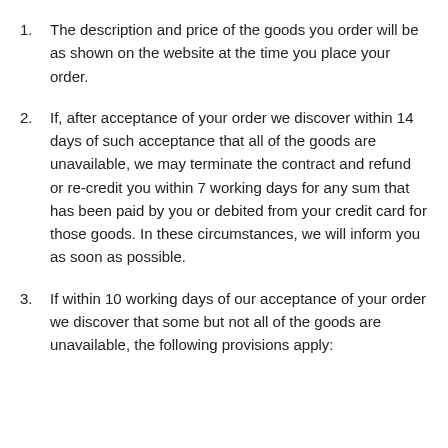1. The description and price of the goods you order will be as shown on the website at the time you place your order.
2. If, after acceptance of your order we discover within 14 days of such acceptance that all of the goods are unavailable, we may terminate the contract and refund or re-credit you within 7 working days for any sum that has been paid by you or debited from your credit card for those goods. In these circumstances, we will inform you as soon as possible.
3. If within 10 working days of our acceptance of your order we discover that some but not all of the goods are unavailable, the following provisions apply: